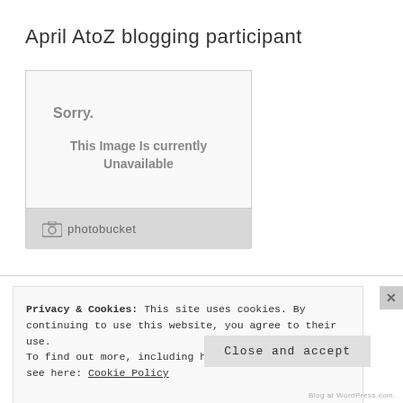April AtoZ blogging participant
[Figure (screenshot): Photobucket image placeholder showing 'Sorry. This Image Is Currently Unavailable' with Photobucket branding at the bottom]
Privacy & Cookies: This site uses cookies. By continuing to use this website, you agree to their use.
To find out more, including how to control cookies, see here: Cookie Policy
Close and accept